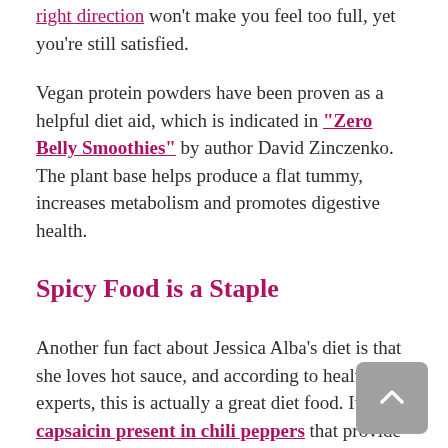right direction won't make you feel too full, yet you're still satisfied.
Vegan protein powders have been proven as a helpful diet aid, which is indicated in "Zero Belly Smoothies" by author David Zinczenko. The plant base helps produce a flat tummy, increases metabolism and promotes digestive health.
Spicy Food is a Staple
Another fun fact about Jessica Alba's diet is that she loves hot sauce, and according to health experts, this is actually a great diet food. It's the capsaicin present in chili peppers that provide all these beneficial qualities.
An important note to keep in mind is that not all hot sauces are considered healthy. Be sure to read the label and find out the sugar, fat, or f...